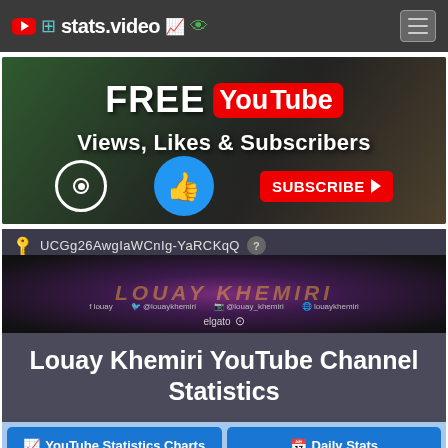stats.video
[Figure (illustration): Promotional banner: FREE YouTube Views, Likes & Subscribers with eye, thumbs-up, and subscribe button icons]
UCGg26AwgIaWCnIg-YaRCKqQ
[Figure (photo): Louay Khemiri YouTube channel banner with channel name overlay, social links, and Elgato logo]
Louay Khemiri YouTube Channel Statistics
YouTube Statistics Charts
Daily Stats